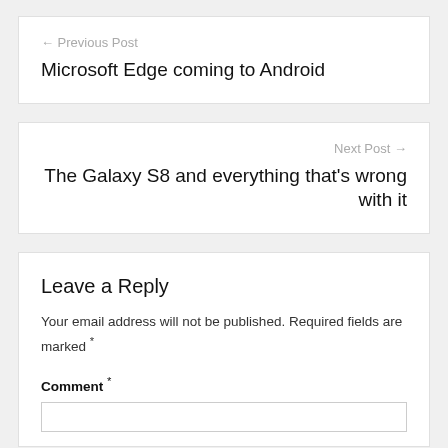← Previous Post
Microsoft Edge coming to Android
Next Post →
The Galaxy S8 and everything that's wrong with it
Leave a Reply
Your email address will not be published. Required fields are marked *
Comment *